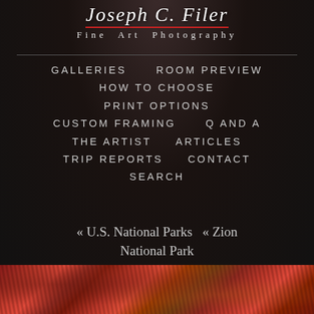Joseph C. Filer Fine Art Photography
GALLERIES
ROOM PREVIEW
HOW TO CHOOSE
PRINT OPTIONS
CUSTOM FRAMING
Q AND A
THE ARTIST
ARTICLES
TRIP REPORTS
CONTACT
SEARCH
« U.S. National Parks  « Zion National Park
[Figure (photo): Close-up photo of red and orange rock formations, likely from Zion National Park, showing textured stone surface with vivid red, orange, and pink hues.]